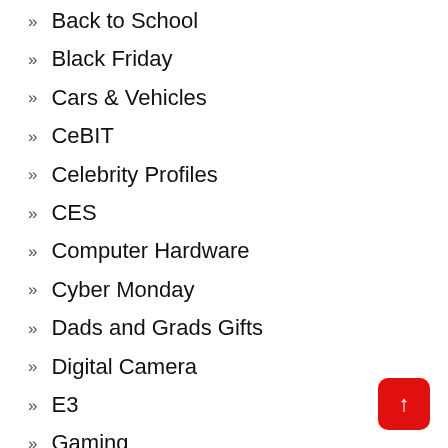Back to School
Black Friday
Cars & Vehicles
CeBIT
Celebrity Profiles
CES
Computer Hardware
Cyber Monday
Dads and Grads Gifts
Digital Camera
E3
Gaming
Gaming Gear